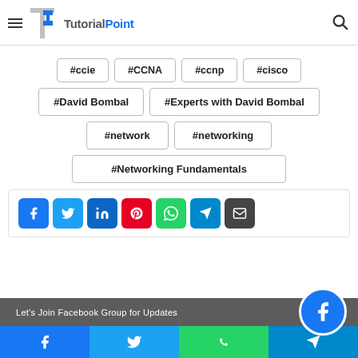[Figure (logo): TutorialPoint logo with hamburger menu and search icon in header]
#ccie
#CCNA
#ccnp
#cisco
#David Bombal
#Experts with David Bombal
#network
#networking
#Networking Fundamentals
[Figure (infographic): Social share buttons: Facebook, Twitter, LinkedIn, Pinterest, WhatsApp, Telegram, Email]
Let's Join Facebook Group for Updates